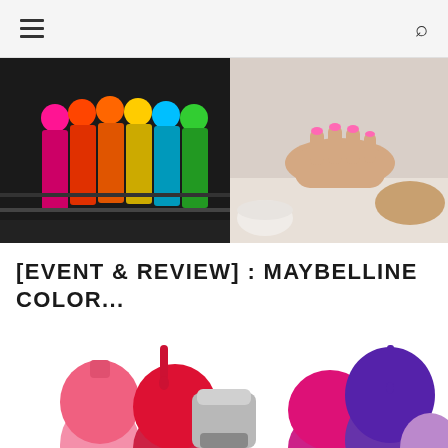navigation header with hamburger menu and search icon
[Figure (photo): Colorful nail polish bottles arranged in a display rack on the left, and hands receiving a manicure treatment on the right]
[EVENT & REVIEW] : MAYBELLINE COLOR...
[Figure (photo): Maybelline nail polish bottles in pink, red, magenta, purple and lilac colors, some dripping paint, arranged in a colorful promotional product shot]